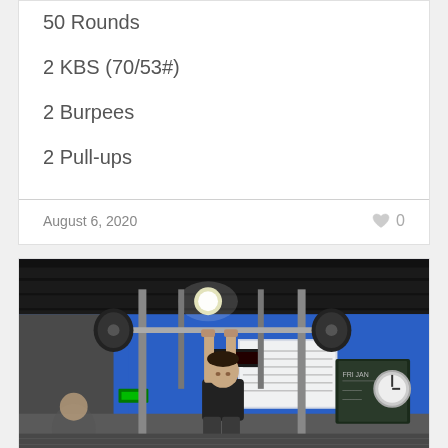50 Rounds
2 KBS (70/53#)
2 Burpees
2 Pull-ups
August 6, 2020
0
[Figure (photo): A man performing an overhead lift with a barbell in a CrossFit gym. Blue walls visible in background, dark ceiling with lights, scoreboard/whiteboard on wall, and a chalkboard sign on the right.]